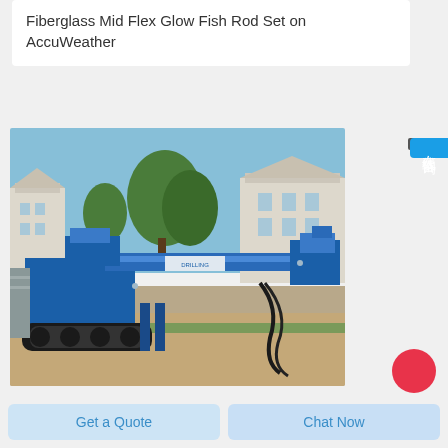Fiberglass Mid Flex Glow Fish Rod Set on AccuWeather
[Figure (photo): A blue tracked drilling/boring machine photographed outdoors on a dirt/gravel surface, with white buildings and green trees visible in the background under a clear blue sky. The machine has a horizontal drill arm extending to the right side.]
在线咨询
Get a Quote
Chat Now